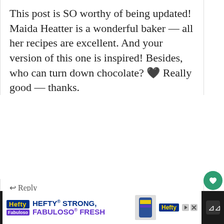This post is SO worthy of being updated! Maida Heatter is a wonderful baker — all her recipes are excellent. And your version of this one is inspired! Besides, who can turn down chocolate? 💞 Really good — thanks.
Reply
Lea Ann (Cooking On The Ranch)
November 28, 2018 at 01:51 PM
WHAT'S NEXT → Chewy, Soft Molasses....
[Figure (screenshot): Advertisement bar for Hefty and Fabuloso products with text HEFTY STRONG, FABULOSO FRESH]